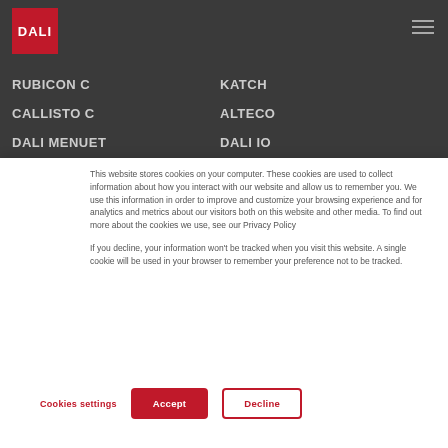[Figure (logo): DALI brand logo — white text on red square background]
RUBICON C
KATCH
CALLISTO C
ALTECO
DALI MENUET
DALI IO
OPTICON MK2
PHANTOM
This website stores cookies on your computer. These cookies are used to collect information about how you interact with our website and allow us to remember you. We use this information in order to improve and customize your browsing experience and for analytics and metrics about our visitors both on this website and other media. To find out more about the cookies we use, see our Privacy Policy
If you decline, your information won’t be tracked when you visit this website. A single cookie will be used in your browser to remember your preference not to be tracked.
Cookies settings
Accept
Decline